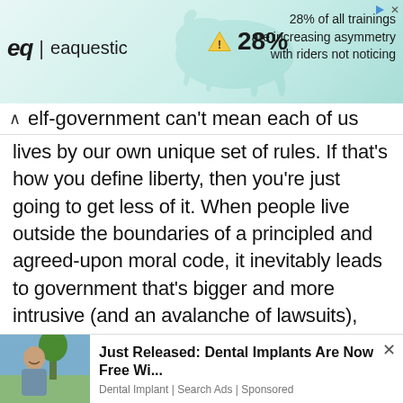[Figure (screenshot): Top advertisement banner for 'eaquestic' showing logo with 'eq | eaquestic', a warning triangle icon with '28%', and text reading '28% of all trainings are increasing asymmetry with riders not noticing'. Has a teal/mint gradient background with a faint horse watermark.]
elf-government can't mean each of us lives by our own unique set of rules. If that's how you define liberty, then you're just going to get less of it. When people live outside the boundaries of a principled and agreed-upon moral code, it inevitably leads to government that's bigger and more intrusive (and an avalanche of lawsuits), just to force people to do the right thing. And if it
[Figure (screenshot): Bottom advertisement banner showing a woman smiling outdoors with text 'Just Released: Dental Implants Are Now Free Wi...' and subtext 'Dental Implant | Search Ads | Sponsored'. Has a close (x) button.]